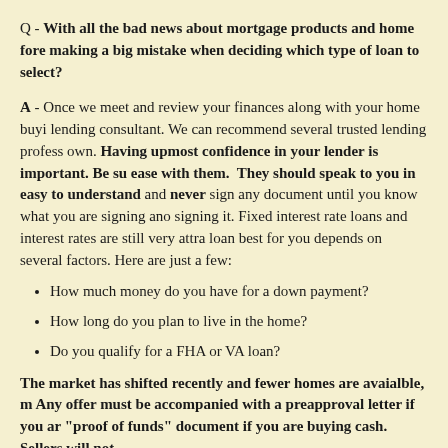Q - With all the bad news about mortgage products and home fore making a big mistake when deciding which type of loan to select?
A - Once we meet and review your finances along with your home buyi lending consultant. We can recommend several trusted lending profess own. Having upmost confidence in your lender is important. Be su ease with them.  They should speak to you in easy to understand and never sign any document until you know what you are signing ano signing it. Fixed interest rate loans and interest rates are still very attra loan best for you depends on several factors. Here are just a few:
How much money do you have for a down payment?
How long do you plan to live in the home?
Do you qualify for a FHA or VA loan?
The market has shifted recently and fewer homes are avaialble, m Any offer must be accompanied with a preapproval letter if you ar "proof of funds" document if you are buying cash. Sellers will not